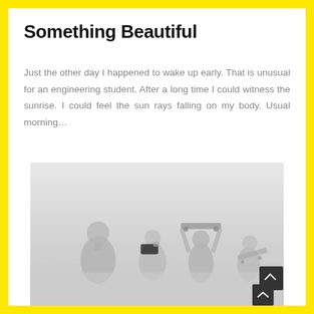Something Beautiful
Just the other day I happened to wake up early. That is unusual for an engineering student. After a long time I could witness the sunrise. I could feel the sun rays falling on my body. Usual morning…
[Figure (photo): Silhouettes of people holding skateboards against a light grey misty background, with a scroll-to-top button in the lower right corner.]